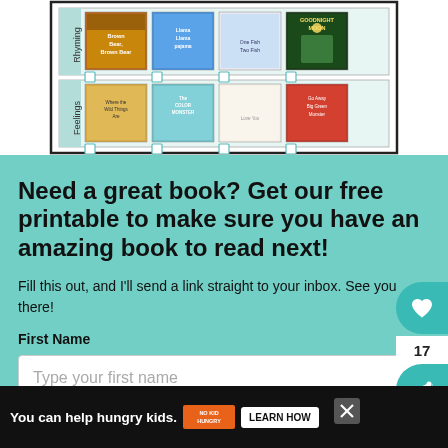[Figure (illustration): A printed book chart/reading list showing children's books organized in rows by category (Rhyming, Feelings). Books visible include Llama Llama Pajama, Goodnight Moon, Where the Wild Things Are, The Color Monster, and others arranged in a grid with checkboxes.]
Need a great book? Get our free printable to make sure you have an amazing book to read next!
Fill this out, and I'll send a link straight to your inbox. See you there!
First Name
Type your first name
You can help hungry kids.
LEARN HOW